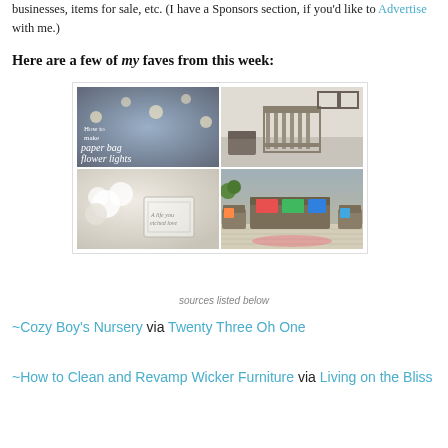businesses, items for sale, etc. (I have a Sponsors section, if you'd like to Advertise with me.)
Here are a few of my faves from this week:
[Figure (photo): A 2x2 collage of four home/DIY images: top-left shows 'How to make paper bag flower lights' craft tutorial with string lights on dark background; top-right shows a cozy boy's nursery with a metal crib and wainscoting; bottom-left shows white flowers and an etched glass vase; bottom-right shows a living room with wicker furniture, colorful cushions, and a patterned rug.]
sources listed below
~Cozy Boy's Nursery via Twenty Three Oh One
~How to Clean and Revamp Wicker Furniture via Living on the Bliss